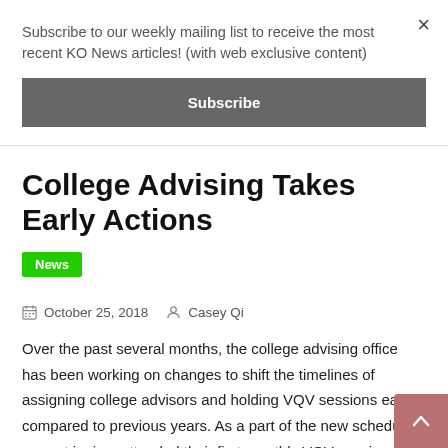Subscribe to our weekly mailing list to receive the most recent KO News articles! (with web exclusive content)
Subscribe
College Advising Takes Early Actions
News
October 25, 2018  Casey Qi
Over the past several months, the college advising office has been working on changes to shift the timelines of assigning college advisors and holding VQV sessions earlier compared to previous years. As a part of the new schedule, current juniors attended their first monthly VQV session in September.